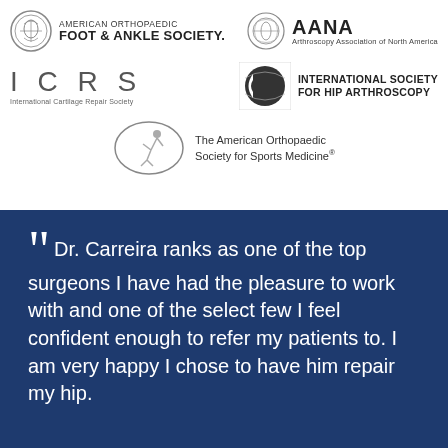[Figure (logo): American Orthopaedic Foot & Ankle Society logo with circular emblem and text]
[Figure (logo): AANA Arthroscopy Association of North America logo with circular emblem]
[Figure (logo): ICRS International Cartilage Repair Society logo with large lettermark]
[Figure (logo): International Society for Hip Arthroscopy logo with globe-like emblem]
[Figure (logo): The American Orthopaedic Society for Sports Medicine logo with athlete in oval]
Dr. Carreira ranks as one of the top surgeons I have had the pleasure to work with and one of the select few I feel confident enough to refer my patients to. I am very happy I chose to have him repair my hip.